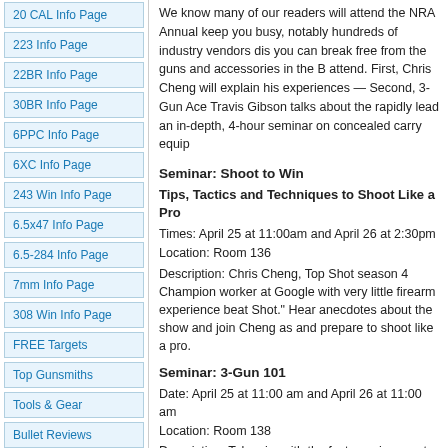20 CAL Info Page
223 Info Page
22BR Info Page
30BR Info Page
6PPC Info Page
6XC Info Page
243 Win Info Page
6.5x47 Info Page
6.5-284 Info Page
7mm Info Page
308 Win Info Page
FREE Targets
Top Gunsmiths
Tools & Gear
Bullet Reviews
Barrels
Custom Actions
Gun Stocks
Scopes & Optics
Vendor List
Reader POLLS
Event Calendar
We know many of our readers will attend the NRA Annual keep you busy, notably hundreds of industry vendors dis you can break free from the guns and accessories in the B attend. First, Chris Cheng will explain his experiences — Second, 3-Gun Ace Travis Gibson talks about the rapidly lead an in-depth, 4-hour seminar on concealed carry equip
Seminar: Shoot to Win
Tips, Tactics and Techniques to Shoot Like a Pro
Times: April 25 at 11:00am and April 26 at 2:30pm
Location: Room 136
Description: Chris Cheng, Top Shot season 4 Champion worker at Google with very little firearm experience beat Shot." Hear anecdotes about the show and join Cheng as and prepare to shoot like a pro.
Seminar: 3-Gun 101
Date: April 25 at 11:00 am and April 26 at 11:00 am
Location: Room 138
Description: Take aim with the fast growing sport of 3-G match looks like at the club, regional and national levels. target presentations that you will experience with rifle, sh with you for each division and discuss the gear needed competitions, you should attend this seminar.